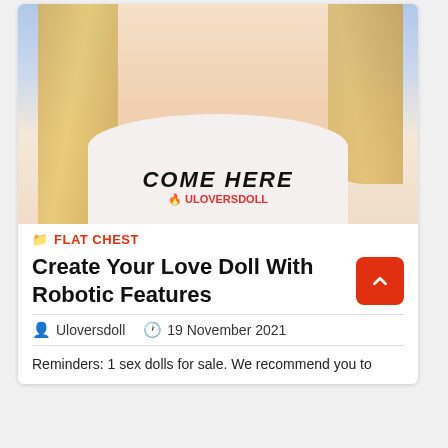[Figure (photo): Close-up photo of a doll figure wearing a white tank top with 'COME HERE' text printed on it, with ULOVERSDOLL watermark, blonde hair visible on sides, light blue background]
FLAT CHEST
Create Your Love Doll With Robotic Features
Uloversdoll   19 November 2021
Reminders: 1 sex dolls for sale. We recommend you to